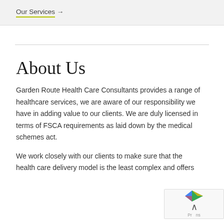Our Services →
About Us
Garden Route Health Care Consultants provides a range of healthcare services, we are aware of our responsibility we have in adding value to our clients. We are duly licensed in terms of FSCA requirements as laid down by the medical schemes act.
We work closely with our clients to make sure that the health care delivery model is the least complex and offers